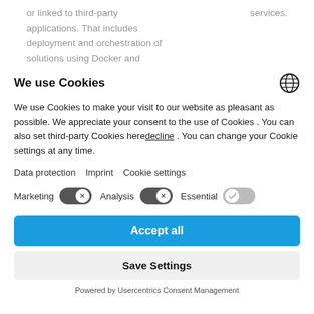or linked to third-party applications. That includes deployment and orchestration of solutions using Docker and
services.
We use Cookies
We use Cookies to make your visit to our website as pleasant as possible. We appreciate your consent to the use of Cookies . You can also set third-party Cookies here decline . You can change your Cookie settings at any time.
Data protection  Imprint  Cookie settings
Marketing  [toggle off]  Analysis  [toggle off]  Essential  [toggle on]
Accept all
Save Settings
Powered by Usercentrics Consent Management